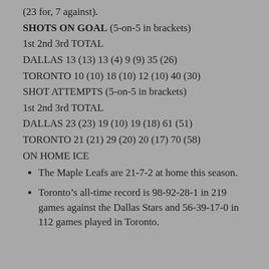(23 for, 7 against).
SHOTS ON GOAL (5-on-5 in brackets)
1st 2nd 3rd TOTAL
DALLAS 13 (13) 13 (4) 9 (9) 35 (26)
TORONTO 10 (10) 18 (10) 12 (10) 40 (30)
SHOT ATTEMPTS (5-on-5 in brackets)
1st 2nd 3rd TOTAL
DALLAS 23 (23) 19 (10) 19 (18) 61 (51)
TORONTO 21 (21) 29 (20) 20 (17) 70 (58)
ON HOME ICE
The Maple Leafs are 21-7-2 at home this season.
Toronto’s all-time record is 98-92-28-1 in 219 games against the Dallas Stars and 56-39-17-0 in 112 games played in Toronto.